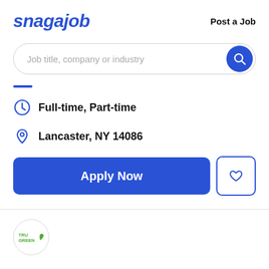snagajob
Post a Job
Job title, company or industry
Full-time, Part-time
Lancaster, NY 14086
Apply Now
[Figure (logo): TruGreen company logo in a circle]
TRUGREEN